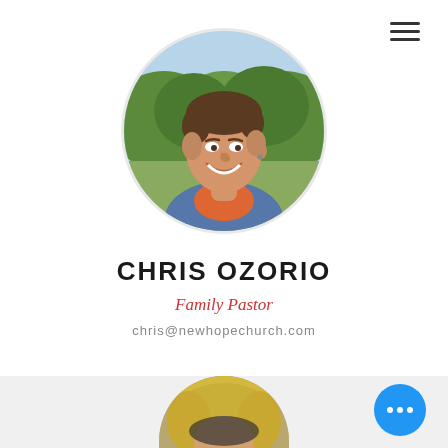[Figure (photo): Circular profile photo of Chris Ozorio, a smiling man with short hair, wearing a denim jacket over an orange shirt, with green bushes in the background.]
CHRIS OZORIO
Family Pastor
chris@newhopechurch.com
[Figure (photo): Partial circular profile photo of a woman with blonde hair, partially visible at the bottom of the page.]